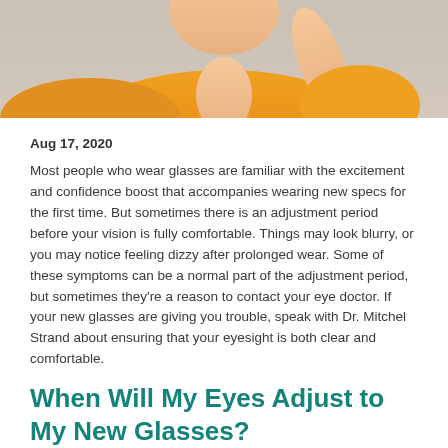[Figure (photo): Partial photo of a person wearing an orange shirt, with hand raised near face, light gray background]
Aug 17, 2020
Most people who wear glasses are familiar with the excitement and confidence boost that accompanies wearing new specs for the first time. But sometimes there is an adjustment period before your vision is fully comfortable. Things may look blurry, or you may notice feeling dizzy after prolonged wear. Some of these symptoms can be a normal part of the adjustment period, but sometimes they're a reason to contact your eye doctor. If your new glasses are giving you trouble, speak with Dr. Mitchel Strand about ensuring that your eyesight is both clear and comfortable.
When Will My Eyes Adjust to My New Glasses?
It can take a few days to a few weeks for your eyes and brain to fully adjust to your new eyewear, whether you are increasing your prescription or wearing glasses for the first time.